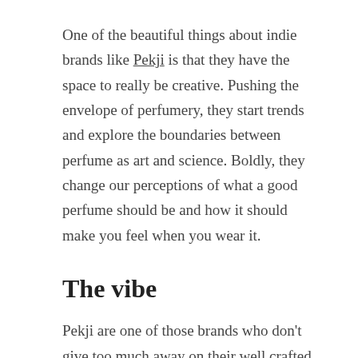One of the beautiful things about indie brands like Pekji is that they have the space to really be creative. Pushing the envelope of perfumery, they start trends and explore the boundaries between perfume as art and science. Boldly, they change our perceptions of what a good perfume should be and how it should make you feel when you wear it.
The vibe
Pekji are one of those brands who don't give too much away on their well crafted website which contains just enough information to hold your attention, but not so much that you feel like you have to wade through lists of what they ate for breakfast before getting to the